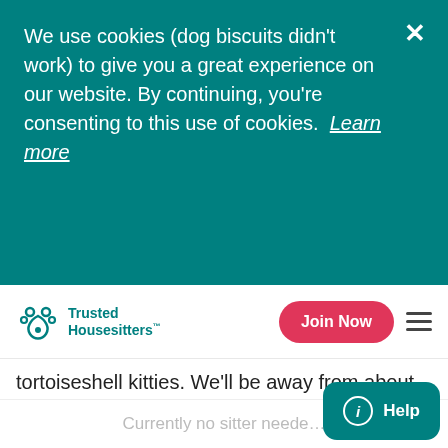We use cookies (dog biscuits didn't work) to give you a great experience on our website. By continuing, you're consenting to this use of cookies.  Learn more
Trusted Housesitters
tortoiseshell kitties. We'll be away from about 5:00… Read more
Home & location
4 bedroom, 3,800 sq ft home with wooded yard and screen porch in quiet neighborhood. Metro station 10 minutes away for a 35 minute ride into
Currently no sitter needed